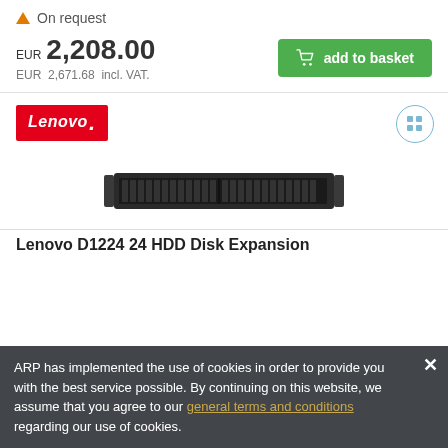▲ On request
EUR 2,208.00
EUR 2,671.68 incl. VAT.
add to basket
[Figure (logo): Lenovo red logo]
[Figure (photo): Lenovo D1224 24 HDD Disk Expansion unit rack server hardware product photo]
Lenovo D1224 24 HDD Disk Expansion
ARP has implemented the use of cookies in order to provide you with the best service possible. By continuing on this website, we assume that you agree to our general terms and conditions regarding our use of cookies.